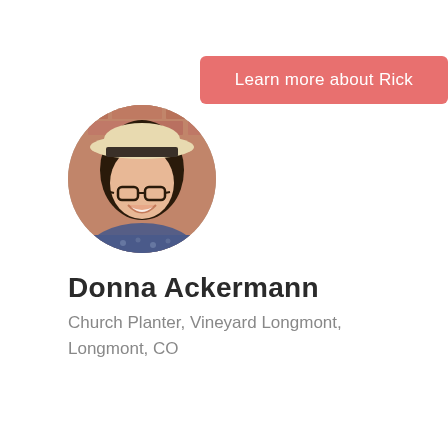Learn more about Rick
[Figure (photo): Circular profile photo of Donna Ackermann, a smiling woman with dark hair and glasses wearing a wide-brimmed straw hat with a dark band, posed against a brick wall background]
Donna Ackermann
Church Planter, Vineyard Longmont, Longmont, CO
Learn more about Donna